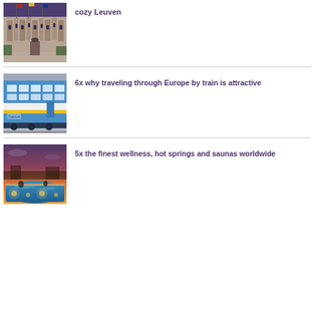[Figure (photo): Gothic building facade with flags, Leuven town hall]
cozy Leuven
[Figure (photo): Blue and white passenger train at a station, Czech Railways]
6x why traveling through Europe by train is attractive
[Figure (photo): Outdoor wellness pool with warm lighting at sunset, spa resort]
5x the finest wellness, hot springs and saunas worldwide